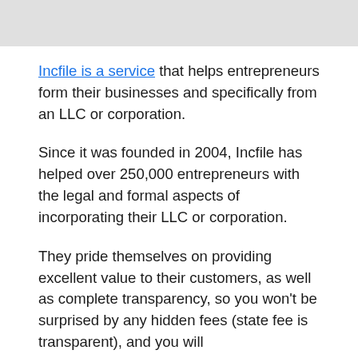[Figure (other): Gray placeholder image at top of page]
Incfile is a service that helps entrepreneurs form their businesses and specifically from an LLC or corporation.
Since it was founded in 2004, Incfile has helped over 250,000 entrepreneurs with the legal and formal aspects of incorporating their LLC or corporation.
They pride themselves on providing excellent value to their customers, as well as complete transparency, so you won't be surprised by any hidden fees (state fee is transparent), and you will